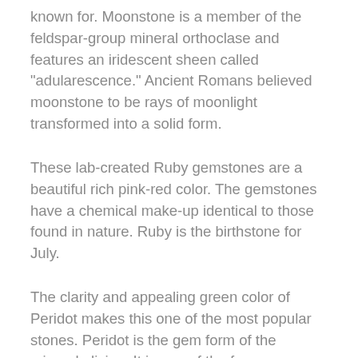known for. Moonstone is a member of the feldspar-group mineral orthoclase and features an iridescent sheen called "adularescence." Ancient Romans believed moonstone to be rays of moonlight transformed into a solid form.
These lab-created Ruby gemstones are a beautiful rich pink-red color. The gemstones have a chemical make-up identical to those found in nature. Ruby is the birthstone for July.
The clarity and appealing green color of Peridot makes this one of the most popular stones. Peridot is the gem form of the mineral olivine. It is one of the few gemstones that occur in only one color; the green hues can vary from yellowish to brownish green, from light olive green to vibrant green. The color of each stone is a result of iron in its chemical composition.